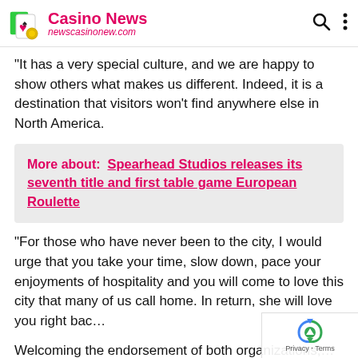Casino News | newscasinonew.com
“It has a very special culture, and we are happy to show others what makes us different. Indeed, it is a destination that visitors won’t find anywhere else in North America.
More about:  Spearhead Studios releases its seventh title and first table game European Roulette
“For those who have never been to the city, I would urge that you take your time, slow down, pace your enjoyments of hospitality and you will come to love this city that many of us call home. In return, she will love you right bac…
Welcoming the endorsement of both organizations,…